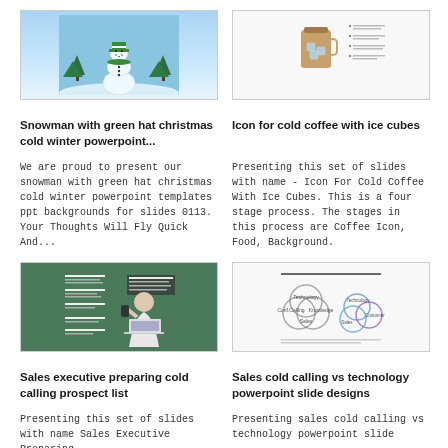[Figure (illustration): Snowman with green hat and scarf on winter blue background with snow trees]
[Figure (illustration): Icon for cold coffee with ice cubes - product image with bullet list]
Snowman with green hat christmas cold winter powerpoint...
Icon for cold coffee with ice cubes
We are proud to present our snowman with green hat christmas cold winter powerpoint templates ppt backgrounds for slides 0113. Your Thoughts Will Fly Quick And...
Presenting this set of slides with name - Icon For Cold Coffee With Ice Cubes. This is a four stage process. The stages in this process are Coffee Icon, Food, Background.
[Figure (illustration): Sales executive preparing cold calling prospect list - businesswoman on phone with laptop]
[Figure (illustration): Sales cold calling vs technology powerpoint slide designs - Venn diagram with overlapping circles]
Sales executive preparing cold calling prospect list
Sales cold calling vs technology powerpoint slide designs
Presenting this set of slides with name Sales Executive Preparing
Presenting sales cold calling vs technology powerpoint slide